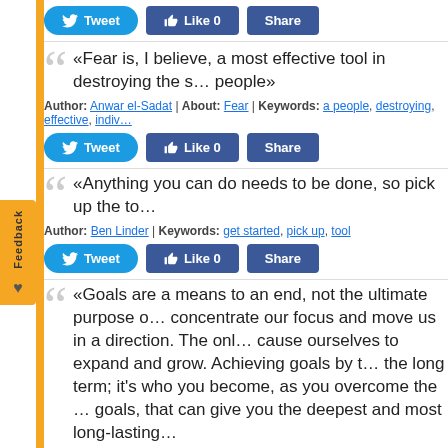[Figure (screenshot): Social share buttons: Tweet, Like 0, Share]
«Fear is, I believe, a most effective tool in destroying the s… people»
Author: Anwar el-Sadat | About: Fear | Keywords: a people, destroying, effective, indiv…
[Figure (screenshot): Social share buttons: Tweet, Like 0, Share]
«Anything you can do needs to be done, so pick up the to…
Author: Ben Linder | Keywords: get started, pick up, tool
[Figure (screenshot): Social share buttons: Tweet, Like 0, Share]
«Goals are a means to an end, not the ultimate purpose o… concentrate our focus and move us in a direction. The onl… cause ourselves to expand and grow. Achieving goals by t… the long term; it's who you become, as you overcome the … goals, that can give you the deepest and most long-lasting…
Author: Anthony Robbins | Keywords: achieve, achieving, As You, at long last, cause, c…